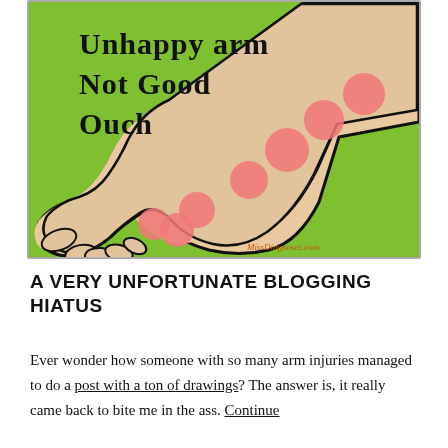[Figure (illustration): Cartoon illustration of a human arm on a green background with multiple red/pink circles (spots) along the arm indicating injuries or sores. Text on the image reads 'Unhappy arm Not Good Ouch' in black handwriting. Watermark at bottom right reads 'MissDiagnoses.com'.]
A VERY UNFORTUNATE BLOGGING HIATUS
Ever wonder how someone with so many arm injuries managed to do a post with a ton of drawings? The answer is, it really came back to bite me in the ass. Continue